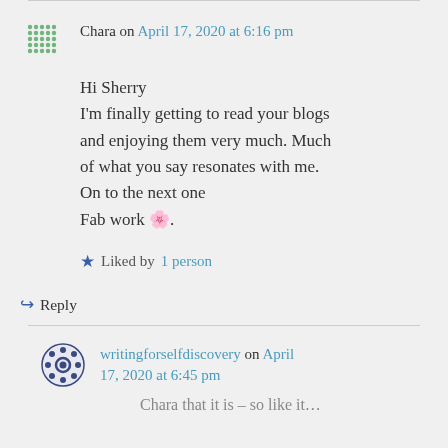Chara on April 17, 2020 at 6:16 pm
Hi Sherry
I'm finally getting to read your blogs and enjoying them very much. Much of what you say resonates with me.
On to the next one
Fab work 🌸.
Liked by 1 person
Reply
writingforselfdiscovery on April 17, 2020 at 6:45 pm